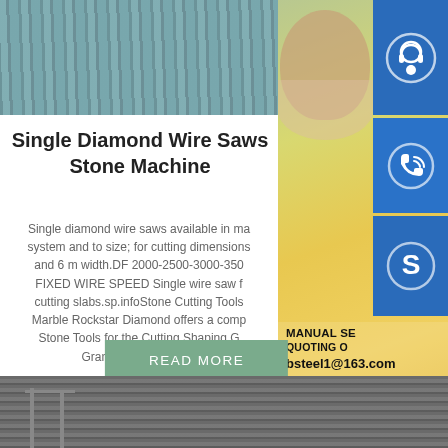[Figure (photo): Top cropped photo of stacked stone/metal slabs with greenish-grey tones]
[Figure (photo): Woman with headset (customer service representative) with blue icon sidebar showing headset, phone, and Skype icons, plus contact info: MANUAL SE, QUOTING O, bsteel1@163.com]
Single Diamond Wire Saws Stone Machine
Single diamond wire saws available in ma system and to size; for cutting dimensions and 6 m width.DF 2000-2500-3000-350 FIXED WIRE SPEED Single wire saw f cutting slabs.sp.infoStone Cutting Tools Marble Rockstar Diamond offers a comp Stone Tools for the Cutting,Shaping,G Granite,Marble,Tile m
READ MORE
[Figure (photo): Bottom photo of industrial crane/steel structure machinery]